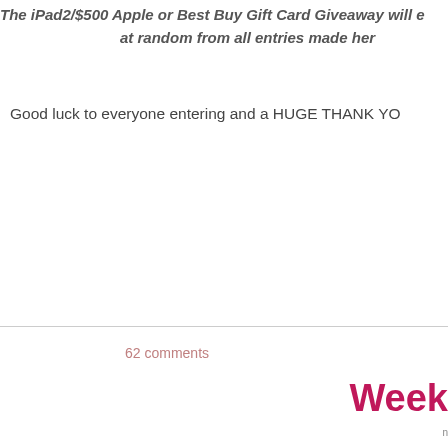The iPad2/$500 Apple or Best Buy Gift Card Giveaway will e... at random from all entries made her...
Good luck to everyone entering and a HUGE THANK YO...
62 comments
Week...